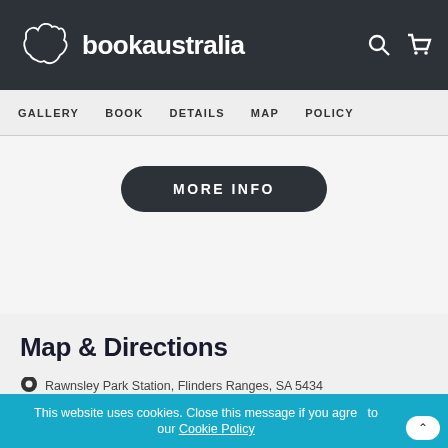bookaustralia
GALLERY   BOOK   DETAILS   MAP   POLICY
MORE INFO
Map & Directions
Rawnsley Park Station, Flinders Ranges, SA 5434
This website uses cookies. Close this message if you agree to our Cookie Policy